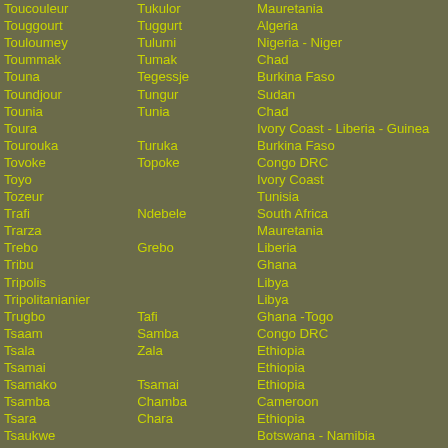| Name | Alt Name | Location |
| --- | --- | --- |
| Toucouleur | Tukulor | Mauretania |
| Touggourt | Tuggurt | Algeria |
| Touloumey | Tulumi | Nigeria - Niger |
| Toummak | Tumak | Chad |
| Touna | Tegessje | Burkina Faso |
| Toundjour | Tungur | Sudan |
| Tounia | Tunia | Chad |
| Toura |  | Ivory Coast - Liberia - Guinea |
| Tourouka | Turuka | Burkina Faso |
| Tovoke | Topoke | Congo DRC |
| Toyo |  | Ivory Coast |
| Tozeur |  | Tunisia |
| Trafi | Ndebele | South Africa |
| Trarza |  | Mauretania |
| Trebo | Grebo | Liberia |
| Tribu |  | Ghana |
| Tripolis |  | Libya |
| Tripolitanianier |  | Libya |
| Trugbo | Tafi | Ghana -Togo |
| Tsaam | Samba | Congo DRC |
| Tsala | Zala | Ethiopia |
| Tsamai |  | Ethiopia |
| Tsamako | Tsamai | Ethiopia |
| Tsamba | Chamba | Cameroon |
| Tsara | Chara | Ethiopia |
| Tsaukwe |  | Botswana - Namibia |
| Tsautsho | Tim - Tem | Ghana -Togo |
| Tsaya | Chamba | Cameroon |